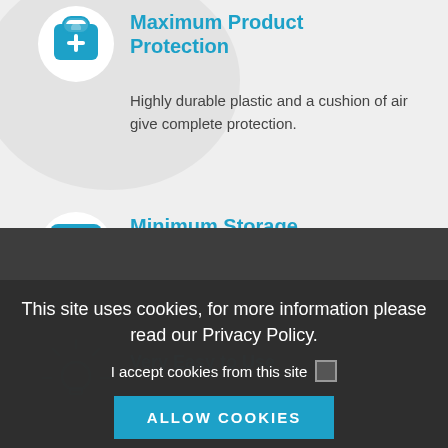Maximum Product Protection
Highly durable plastic and a cushion of air give complete protection.
Minimum Storage
Our products are supplied uninflated so require much less space than traditional packaging.
This site uses cookies, for more information please read our Privacy Policy.
I accept cookies from this site
ALLOW COOKIES
Very Easy to Use
Set up of our products can be done at home or in a